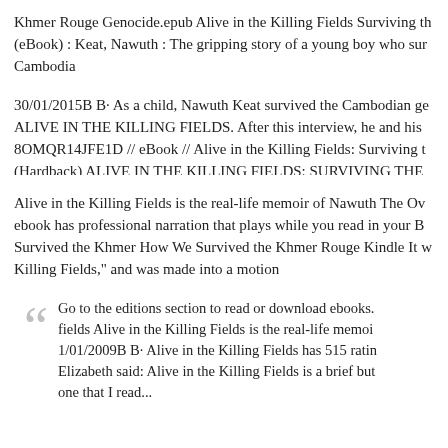Khmer Rouge Genocide.epub Alive in the Killing Fields Surviving th (eBook) : Keat, Nawuth : The gripping story of a young boy who sur Cambodia
30/01/2015B B· As a child, Nawuth Keat survived the Cambodian ge ALIVE IN THE KILLING FIELDS. After this interview, he and his 8OMQR14JFE1D // eBook // Alive in the Killing Fields: Surviving t (Hardback) ALIVE IN THE KILLING FIELDS: SURVIVING THE
Alive in the Killing Fields is the real-life memoir of Nawuth The Ov ebook has professional narration that plays while you read in your B Survived the Khmer How We Survived the Khmer Rouge Kindle It v Killing Fields," and was made into a motion
Go to the editions section to read or download ebooks. fields Alive in the Killing Fields is the real-life memoi 1/01/2009B B· Alive in the Killing Fields has 515 ratin Elizabeth said: Alive in the Killing Fields is a brief but one that I read...